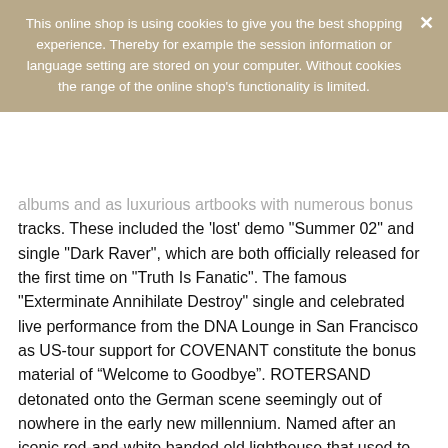This online shop is using cookies to give you the best shopping experience. Thereby for example the session information or language setting are stored on your computer. Without cookies the range of the online shop's functionality is limited.
albums and as luxurious artbooks with numerous bonus tracks. These included the 'lost' demo "Summer 02" and single "Dark Raver", which are both officially released for the first time on "Truth Is Fanatic". The famous "Exterminate Annihilate Destroy" single and celebrated live performance from the DNA Lounge in San Francisco as US-tour support for COVENANT constitute the bonus material of “Welcome to Goodbye”. ROTERSAND detonated onto the German scene seemingly out of nowhere in the early new millennium. Named after an iconic red-and-white banded old lighthouse that used to guide ships in the German Bight, ROTERSAND left the impression of being downright omnipresent. ROTERSAND were formed in 2002 by former THE FAIR SEX bassist Rascal aka Rasc, who moved to the frontman position and joined forces with multi-instrumentalist and lyricist Gunther 'Gun' Gerl. The duo's first 4-track demo, simply called "Summer 02", soon circulated widely within underground electro circles and